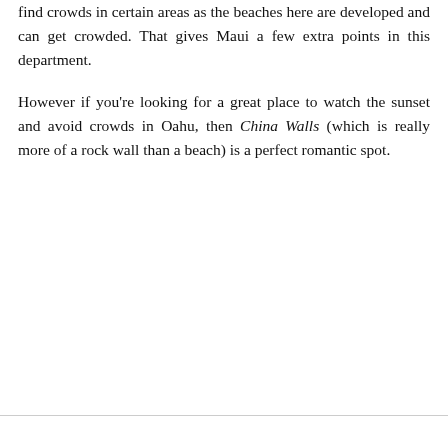find crowds in certain areas as the beaches here are developed and can get crowded. That gives Maui a few extra points in this department.
However if you're looking for a great place to watch the sunset and avoid crowds in Oahu, then China Walls (which is really more of a rock wall than a beach) is a perfect romantic spot.